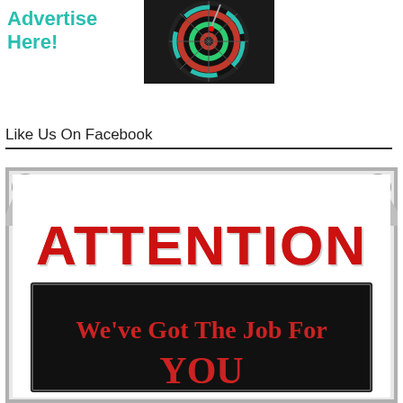[Figure (illustration): Advertisement banner with teal bold text 'Advertise Here!' on left and a dartboard photo on the right]
Like Us On Facebook
[Figure (illustration): Promotional image showing a banner sign with large red bold text 'ATTENTION' and below it on a black background 'We've Got The Job For YOU']